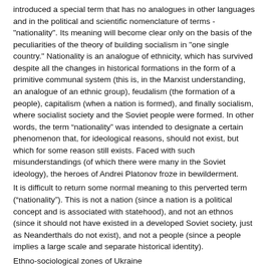introduced a special term that has no analogues in other languages and in the political and scientific nomenclature of terms - "nationality". Its meaning will become clear only on the basis of the peculiarities of the theory of building socialism in "one single country." Nationality is an analogue of ethnicity, which has survived despite all the changes in historical formations in the form of a primitive communal system (this is, in the Marxist understanding, an analogue of an ethnic group), feudalism (the formation of a people), capitalism (when a nation is formed), and finally socialism, where socialist society and the Soviet people were formed. In other words, the term “nationality” was intended to designate a certain phenomenon that, for ideological reasons, should not exist, but which for some reason still exists. Faced with such misunderstandings (of which there were many in the Soviet ideology), the heroes of Andrei Platonov froze in bewilderment.
It is difficult to return some normal meaning to this perverted term (“nationality”). This is not a nation (since a nation is a political concept and is associated with statehood), and not an ethnos (since it should not have existed in a developed Soviet society, just as Neanderthals do not exist), and not a people (since a people implies a large scale and separate historical identity).
Ethno-sociological zones of Ukraine
In practice, heterogeneous ethno-sociological segments turned out to be concentrated in Ukraine.
First, there was a large percentage of Great Russians, who in Soviet